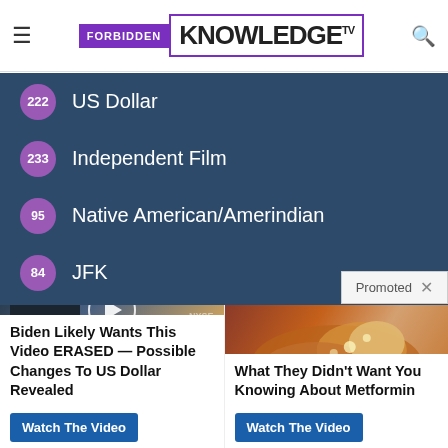[Figure (screenshot): Forbidden Knowledge TV website header with hamburger menu, purple logo, and search icon]
222 US Dollar
233 Independent Film
95 Native American/Amerindian
84 JFK
11 Leuren Moret
Promoted ×
[Figure (screenshot): Video thumbnail of man at NYSE studio with play button overlay]
Biden Likely Wants This Video ERASED — Possible Changes To US Dollar Revealed
Watch The Video
[Figure (photo): Close-up medical image of pancreas organ]
What They Didn't Want You Knowing About Metformin
Watch The Video